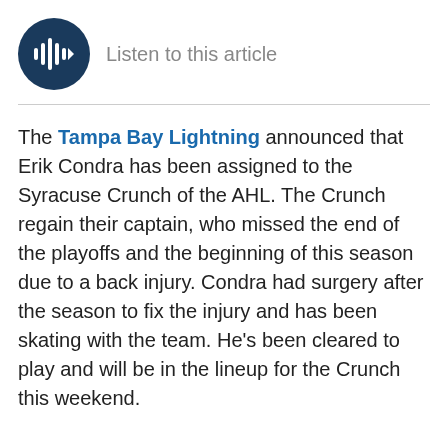[Figure (other): Dark navy circular play button with audio waveform icon, with 'Listen to this article' text beside it]
The Tampa Bay Lightning announced that Erik Condra has been assigned to the Syracuse Crunch of the AHL. The Crunch regain their captain, who missed the end of the playoffs and the beginning of this season due to a back injury. Condra had surgery after the season to fix the injury and has been skating with the team. He's been cleared to play and will be in the lineup for the Crunch this weekend.